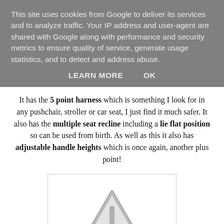This site uses cookies from Google to deliver its services and to analyze traffic. Your IP address and user-agent are shared with Google along with performance and security metrics to ensure quality of service, generate usage statistics, and to detect and address abuse.
LEARN MORE    OK
It has the 5 point harness which is something I look for in any pushchair, stroller or car seat, I just find it much safer. It also has the multiple seat recline including a lie flat position so can be used from birth. As well as this it also has adjustable handle heights which is once again, another plus point!
[Figure (illustration): A grey warning/caution triangle icon with an exclamation mark inside, displayed in a white bordered box.]